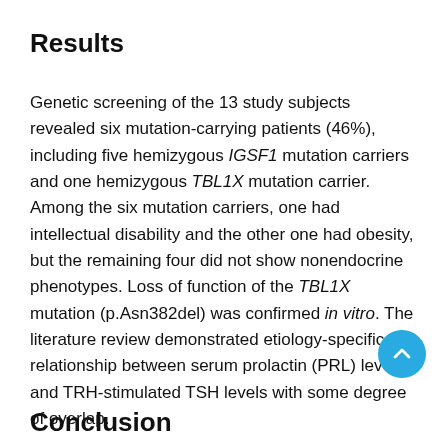Results
Genetic screening of the 13 study subjects revealed six mutation-carrying patients (46%), including five hemizygous IGSF1 mutation carriers and one hemizygous TBL1X mutation carrier. Among the six mutation carriers, one had intellectual disability and the other one had obesity, but the remaining four did not show nonendocrine phenotypes. Loss of function of the TBL1X mutation (p.Asn382del) was confirmed in vitro. The literature review demonstrated etiology-specific relationship between serum prolactin (PRL) levels and TRH-stimulated TSH levels with some degree of overlap.
Conclusion